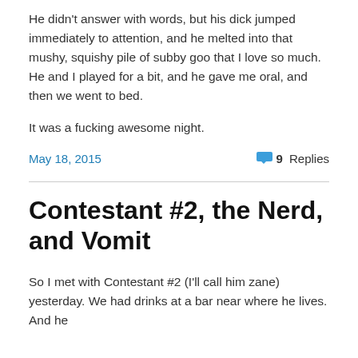He didn't answer with words, but his dick jumped immediately to attention, and he melted into that mushy, squishy pile of subby goo that I love so much.  He and I played for a bit, and he gave me oral, and then we went to bed.
It was a fucking awesome night.
May 18, 2015
9 Replies
Contestant #2, the Nerd, and Vomit
So I met with Contestant #2 (I'll call him zane) yesterday. We had drinks at a bar near where he lives.  And he